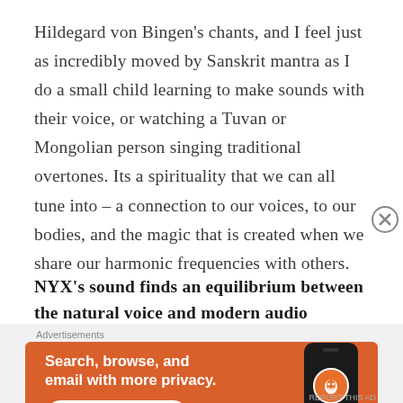Hildegard von Bingen's chants, and I feel just as incredibly moved by Sanskrit mantra as I do a small child learning to make sounds with their voice, or watching a Tuvan or Mongolian person singing traditional overtones. Its a spirituality that we can all tune into – a connection to our voices, to our bodies, and the magic that is created when we share our harmonic frequencies with others.
NYX's sound finds an equilibrium between the natural voice and modern audio manipulation
[Figure (other): DuckDuckGo advertisement banner with orange background. Text reads: 'Search, browse, and email with more privacy. All in One Free App'. Shows a phone with DuckDuckGo logo.]